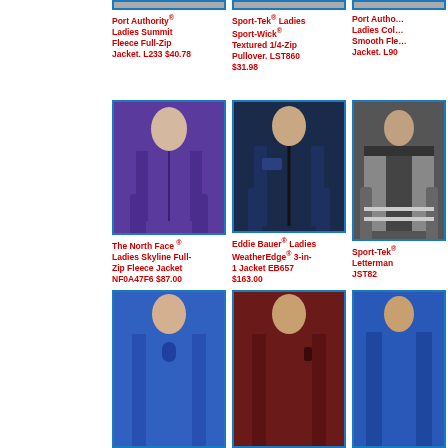[Figure (photo): Port Authority Ladies Summit Fleece Full-Zip Jacket product image (partial, top strip)]
Port Authority® Ladies Summit Fleece Full-Zip Jacket. L233 $40.78
[Figure (photo): Sport-Tek Ladies Sport-Wick Textured 1/4-Zip Pullover product image (partial, top strip)]
Sport-Tek® Ladies Sport-Wick® Textured 1/4-Zip Pullover. LST860 $31.98
[Figure (photo): Port Authority Ladies Collective Smooth Fleece Jacket product image (partial, top strip)]
Port Authority® Ladies Collective Smooth Fleece Jacket. L90
[Figure (photo): The North Face Ladies Skyline Full-Zip Fleece Jacket in purple]
The North Face® Ladies Skyline Full-Zip Fleece Jacket NF0A47F6 $87.00
[Figure (photo): Eddie Bauer Ladies WeatherEdge 3-in-1 Jacket EB657 in navy]
Eddie Bauer® Ladies WeatherEdge® 3-in-1 Jacket EB657 $163.00
[Figure (photo): Sport-Tek Letterman jacket JST82 in grey]
Sport-Tek® Letterman JST82
[Figure (photo): Men's blue quarter-zip fleece product image (partial, bottom)]
[Figure (photo): Men's maroon fleece jacket product image (partial, bottom)]
[Figure (photo): Men's blue jacket product image (partial, bottom)]